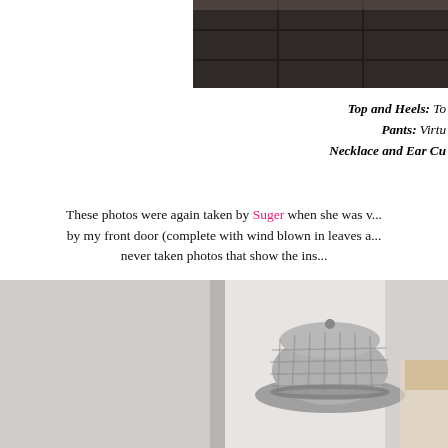[Figure (photo): Partial photo of dark tiled floor, cropped at top of page]
Top and Heels: To... Pants: Virtu... Necklace and Ear Cu...
These photos were again taken by Suger when she was v... by my front door (complete with wind blown in leaves a... never taken photos that show the ins...
I'm utterly in love with these Virtu 3/4 polka dot chin... them! I'm not a huge pants wearer in general, but som... course polka dots, I'm a dotty addict! I really wanted to s... grab on the belly area so I figured a...
[Figure (photo): Photo showing a person wearing a grey plaid fedora hat, partially visible, taken indoors near a door]